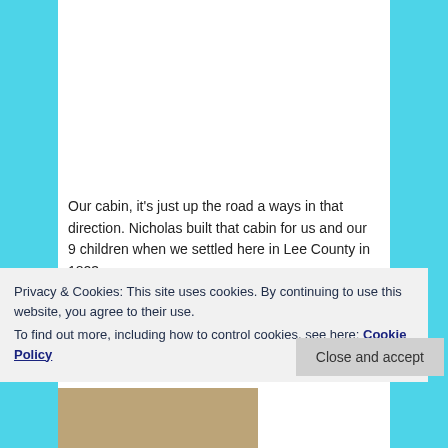[Figure (photo): Sepia-toned vintage photograph of an old log cabin or building surrounded by tall dry grass and weeds, viewed from outside]
Our cabin, it's just up the road a ways in that direction. Nicholas built that cabin for us and our 9 children when we settled here in Lee County in 1823.
We only had 9 then.  They were all born in Washington
Privacy & Cookies: This site uses cookies. By continuing to use this website, you agree to their use.
To find out more, including how to control cookies, see here: Cookie Policy
[Figure (photo): Partial view of another vintage photograph at the bottom of the page]